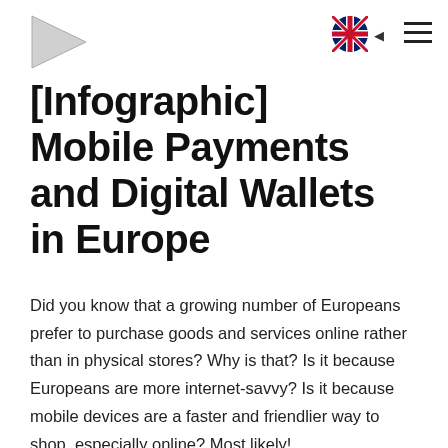[navigation bar with logo, UK flag, and menu icon]
[Infographic] Mobile Payments and Digital Wallets in Europe
Did you know that a growing number of Europeans prefer to purchase goods and services online rather than in physical stores? Why is that? Is it because Europeans are more internet-savvy? Is it because mobile devices are a faster and friendlier way to shop, especially online? Most likely!